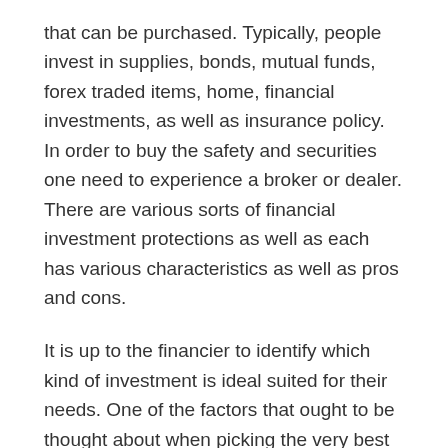that can be purchased. Typically, people invest in supplies, bonds, mutual funds, forex traded items, home, financial investments, as well as insurance policy. In order to buy the safety and securities one need to experience a broker or dealer. There are various sorts of financial investment protections as well as each has various characteristics as well as pros and cons.
It is up to the financier to identify which kind of investment is ideal suited for their needs. One of the factors that ought to be thought about when picking the very best financial investments is the time duration for which the investments are meant. A longer-term financial investment will normally give a higher price of return than a prompt return on the investment. While there are always mosting likely to be dangers in any type of investment, they are likewise diversified as well